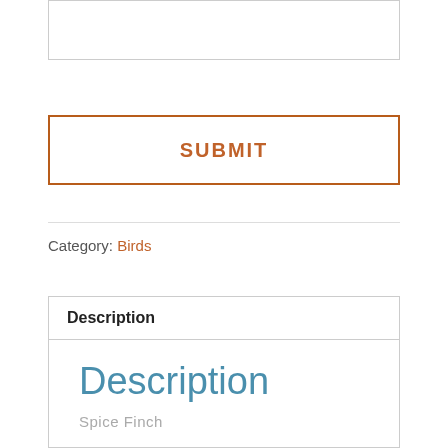[Figure (screenshot): Text input area box at top of page]
SUBMIT
Category: Birds
Description
Description
Spice Finch